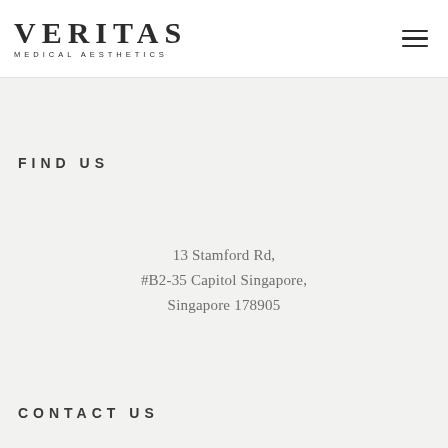VERITAS MEDICAL AESTHETICS
FIND US
13 Stamford Rd,
#B2-35 Capitol Singapore,
Singapore 178905
CONTACT US